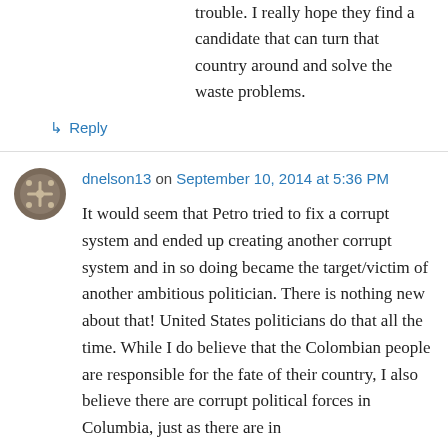trouble. I really hope they find a candidate that can turn that country around and solve the waste problems.
↳ Reply
dnelson13 on September 10, 2014 at 5:36 PM
It would seem that Petro tried to fix a corrupt system and ended up creating another corrupt system and in so doing became the target/victim of another ambitious politician. There is nothing new about that! United States politicians do that all the time. While I do believe that the Colombian people are responsible for the fate of their country, I also believe there are corrupt political forces in Columbia, just as there are in